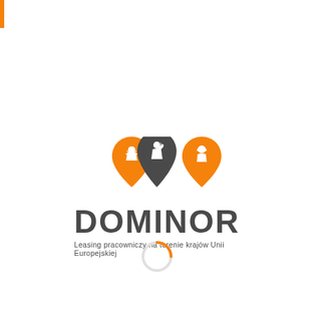[Figure (logo): Dominor company logo with three map pin icons (two orange, one dark grey in center) above the text DOMINOR and subtitle 'Leasing pracowniczy na terenie krajów Unii Europejskiej'. Below the logo is a loading spinner graphic.]